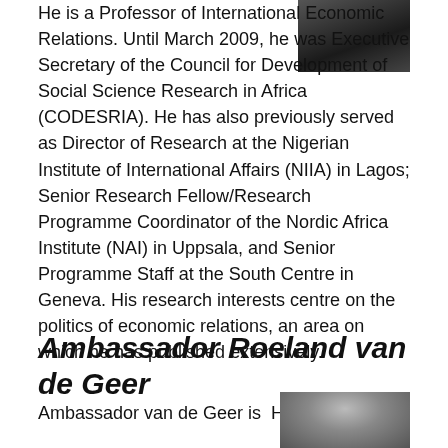[Figure (photo): Black and white portrait photo of a person, top right corner, partially visible]
He is a Professor of International Economic Relations. Until March 2009, he was Executive Secretary of the Council for Development of Social Science Research in Africa (CODESRIA). He has also previously served as Director of Research at the Nigerian Institute of International Affairs (NIIA) in Lagos; Senior Research Fellow/Research Programme Coordinator of the Nordic Africa Institute (NAI) in Uppsala, and Senior Programme Staff at the South Centre in Geneva. His research interests centre on the politics of economic relations, an area on which he has published extensively.
Ambassador Roeland van de Geer
Ambassador van de Geer is  Head
[Figure (photo): Black and white portrait photo of Ambassador Roeland van de Geer, partially visible at bottom right]